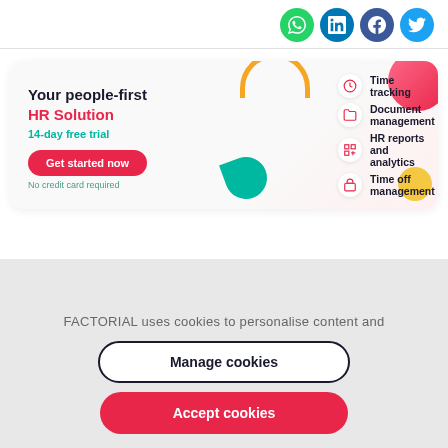[Figure (screenshot): Social media share icons: WhatsApp (green), LinkedIn (blue), Facebook (dark blue), Twitter (light blue), displayed as circular icons in top-right area]
[Figure (infographic): HR Software banner card with title 'Your people-first HR Solution', '14-day free trial', 'Get started now' button, 'No credit card required', and four features: Time tracking, Document management, HR reports and analytics, Time off management]
FACTORIAL uses cookies to personalise content and
Manage cookies
Accept cookies